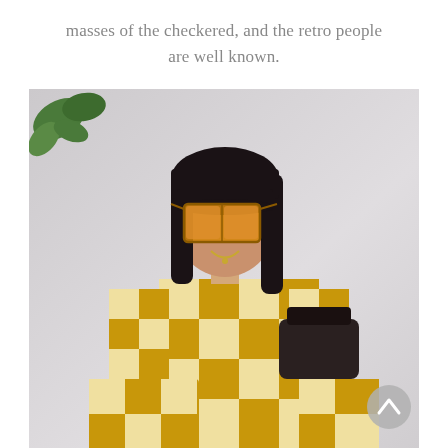masses of the checkered, and the retro people are well known.
[Figure (photo): A woman with dark hair and large square orange-tinted sunglasses sitting on the floor, wearing a yellow and white checkered pattern outfit (shirt and wide-leg pants), holding a black bag. A green plant is visible in the top left corner. White background.]